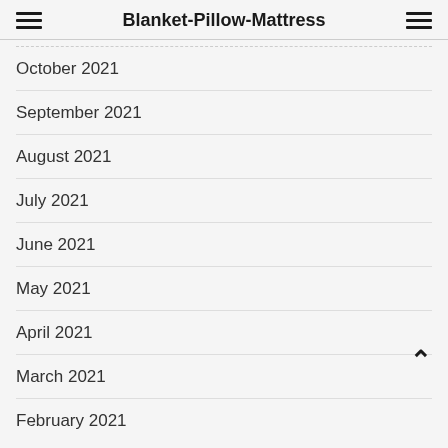Blanket-Pillow-Mattress
October 2021
September 2021
August 2021
July 2021
June 2021
May 2021
April 2021
March 2021
February 2021